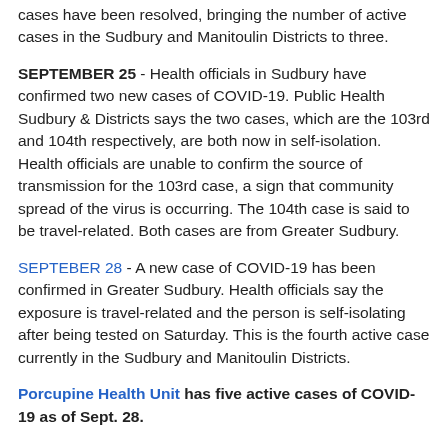cases have been resolved, bringing the number of active cases in the Sudbury and Manitoulin Districts to three.
SEPTEMBER 25 - Health officials in Sudbury have confirmed two new cases of COVID-19. Public Health Sudbury & Districts says the two cases, which are the 103rd and 104th respectively, are both now in self-isolation. Health officials are unable to confirm the source of transmission for the 103rd case, a sign that community spread of the virus is occurring. The 104th case is said to be travel-related. Both cases are from Greater Sudbury.
SEPTEBER 28 - A new case of COVID-19 has been confirmed in Greater Sudbury. Health officials say the exposure is travel-related and the person is self-isolating after being tested on Saturday. This is the fourth active case currently in the Sudbury and Manitoulin Districts.
Porcupine Health Unit has five active cases of COVID-19 as of Sept. 28.